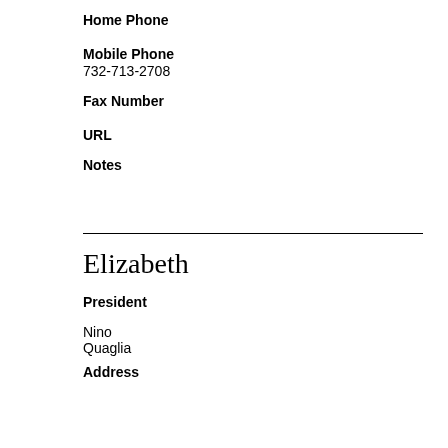Home Phone
Mobile Phone
732-713-2708
Fax Number
URL
Notes
Elizabeth
President
Nino
Quaglia
Address